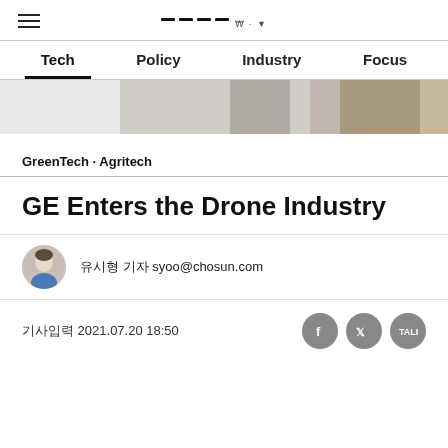≡  [logo/site name]
Tech  Policy  Industry  Focus
[Figure (photo): Partial hero image banner, showing a drone or technology-related photo, partially visible at the top of the article]
GreenTech · Agritech
GE Enters the Drone Industry
유시형 기자 syoo@chosun.com
기사입력 2021.07.20 18:50